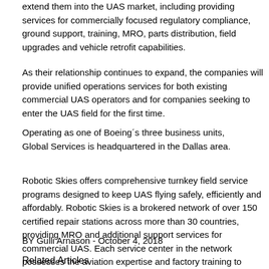extend them into the UAS market, including providing services for commercially focused regulatory compliance, ground support, training, MRO, parts distribution, field upgrades and vehicle retrofit capabilities.
As their relationship continues to expand, the companies will provide unified operations services for both existing commercial UAS operators and for companies seeking to enter the UAS field for the first time.
Operating as one of Boeing´s three business units, Global Services is headquartered in the Dallas area.
Robotic Skies offers comprehensive turnkey field service programs designed to keep UAS flying safely, efficiently and affordably. Robotic Skies is a brokered network of over 150 certified repair stations across more than 30 countries, providing MRO and additional support services for commercial UAS. Each service center in the network possesses the aviation expertise and factory training to ensure the mission readiness of these aircraft.
BY Gulli Arnason - October 4, 2018
Related Articles